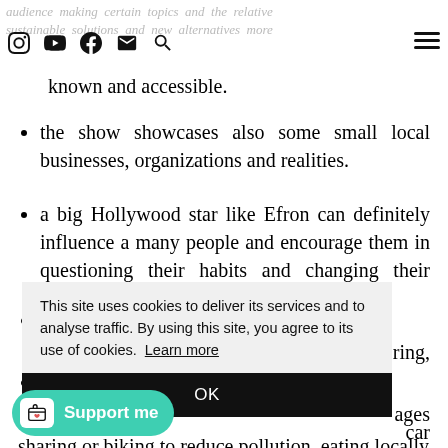audience making certain topics and the relative sustainable solutions and new alternatives more known and accessible.
known and accessible.
the show showcases also some small local businesses, organizations and realities.
a big Hollywood star like Efron can definitely influence a many people and encourage them in questioning their habits and changing their choices.
[partially obscured] ...vely ...ring,
[partially obscured] ...eing ...ages ...car sharing or biking to reduce pollution, eating locally
This site uses cookies to deliver its services and to analyse traffic. By using this site, you agree to its use of cookies. Learn more
OK
Support me